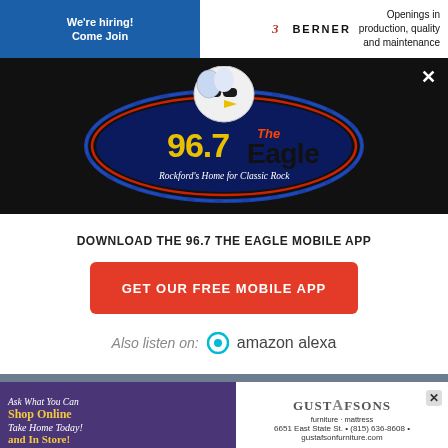[Figure (screenshot): Top advertisement banner: blue section with 'We're hiring! Come Join' and white section with 'BERNER' logo and 'Openings in production, quality and maintenance']
[Figure (logo): 96.7 The Eagle radio station logo - eagle wearing sunglasses, blue oval, text '96.7 The Eagle Rockford's Home for Classic Rock']
DOWNLOAD THE 96.7 THE EAGLE MOBILE APP
GET OUR FREE MOBILE APP
Also listen on:  amazon alexa
[Figure (screenshot): Bottom advertisement: Gustafson's furniture ad - 'Ask What You Can Take Home Today! Shop Online and In Store! 6651 East State St. (815) 636-8608 gustafsonfurniture.com']